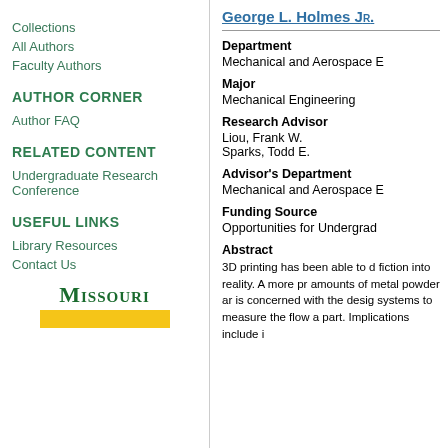Collections
All Authors
Faculty Authors
AUTHOR CORNER
Author FAQ
RELATED CONTENT
Undergraduate Research Conference
USEFUL LINKS
Library Resources
Contact Us
[Figure (logo): Missouri S&T university logo with green text and gold bar]
George L. Holmes Jr.
Department
Mechanical and Aerospace E
Major
Mechanical Engineering
Research Advisor
Liou, Frank W.
Sparks, Todd E.
Advisor's Department
Mechanical and Aerospace E
Funding Source
Opportunities for Undergrad
Abstract
3D printing has been able to change fiction into reality. A more precise amounts of metal powder are is concerned with the design systems to measure the flow a part. Implications include i